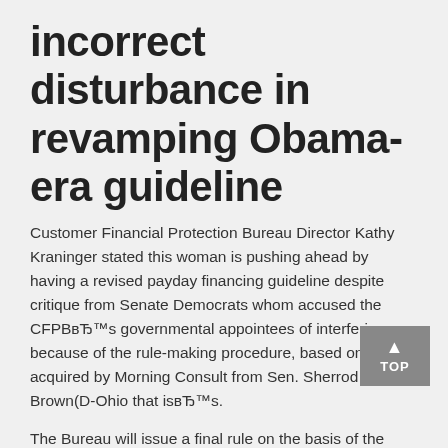incorrect disturbance in revamping Obama-era guideline
Customer Financial Protection Bureau Director Kathy Kraninger stated this woman is pushing ahead by having a revised payday financing guideline despite critique from Senate Democrats whom accused the CFPBвЂ™s governmental appointees of interfering because of the rule-making procedure, based on a page acquired by Morning Consult from Sen. Sherrod Brown(D-Ohio that isвЂ™s.
The Bureau will issue a final rule on the basis of the record before the agency,вЂќ Kraninger wrote in the letter, dated MondayвЂњUpon my determination. вЂњAnd upon that foundation, i shall protect the agencyвЂ™s action.вЂќ
The page answers one dated might 4 delivered by Brown, the Senate Banking CommitteevЂ™s position user, Sen. Elizabeth